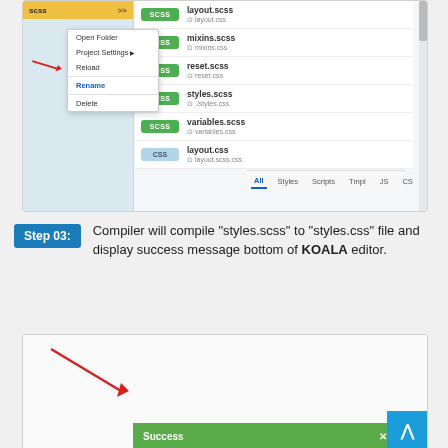[Figure (screenshot): KOALA CSS compiler application screenshot showing a file list with SCSS files (layout.scss, mixins.scss, reset.scss, styles.scss, variables.scss, layout.css) and a right-click context menu open with options: Open Folder, Project Setting, Reload, Rename (highlighted), Delete. A red arrow points to Rename.]
Step 03: Compiler will compile "styles.scss" to "styles.css" file and display success message bottom of KOALA editor.
[Figure (screenshot): KOALA editor bottom area showing a green Success notification bar with an X button, and a red arrow pointing to the success bar. A blue back-to-top button is visible in the bottom right.]